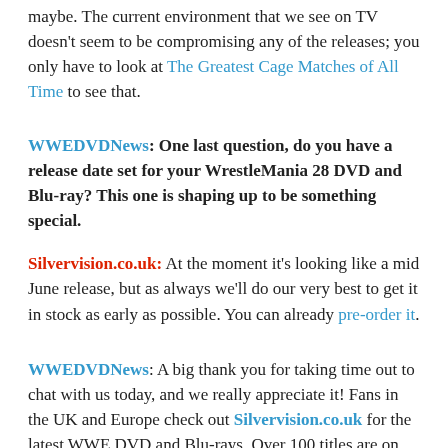maybe. The current environment that we see on TV doesn't seem to be compromising any of the releases; you only have to look at The Greatest Cage Matches of All Time to see that.
WWEDVDNews: One last question, do you have a release date set for your WrestleMania 28 DVD and Blu-ray? This one is shaping up to be something special.
Silvervision.co.uk: At the moment it's looking like a mid June release, but as always we'll do our very best to get it in stock as early as possible. You can already pre-order it.
WWEDVDNews: A big thank you for taking time out to chat with us today, and we really appreciate it! Fans in the UK and Europe check out Silvervision.co.uk for the latest WWE DVD and Blu-rays. Over 100 titles are on sale